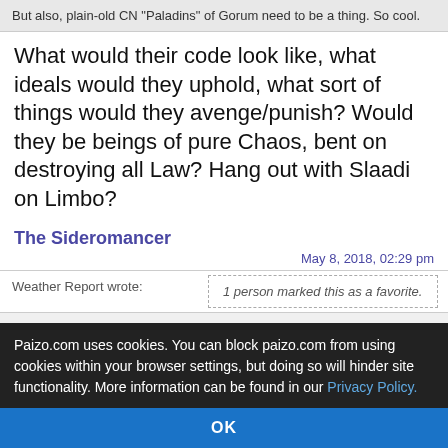But also, plain-old CN "Paladins" of Gorum need to be a thing. So cool.
What would their code look like, what ideals would they uphold, what sort of things would they avenge/punish? Would they be beings of pure Chaos, bent on destroying all Law? Hang out with Slaadi on Limbo?
The Sideromancer
May 8, 2018, 02:29 pm
Weather Report wrote:
1 person marked this as a favorite.
The Sideromancer wrote:
Arikiel wrote:
Weather Report wrote:
Paizo.com uses cookies. You can block paizo.com from using cookies within your browser settings, but doing so will hinder site functionality. More information can be found in our Privacy Policy.
OK